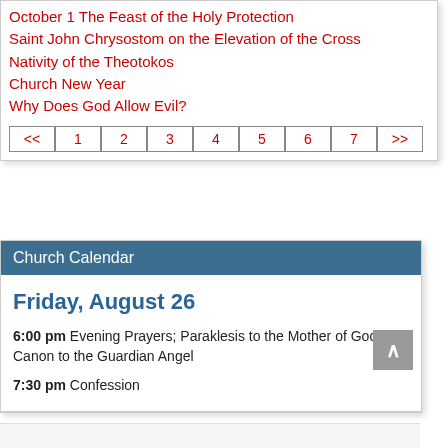October 1 The Feast of the Holy Protection
Saint John Chrysostom on the Elevation of the Cross
Nativity of the Theotokos
Church New Year
Why Does God Allow Evil?
Church Calendar
Friday, August 26
6:00 pm Evening Prayers; Paraklesis to the Mother of God- Canon to the Guardian Angel
7:30 pm Confession